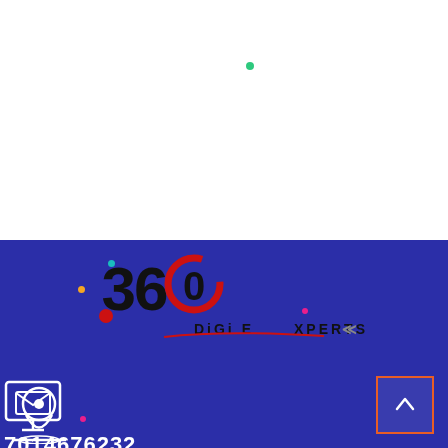[Figure (logo): 360 Digi Experts logo with black 360 numeral, red circular arrow accent, and stylized text 'DiGi EXPERTScc' with red underline]
7014676232
info360digiexpertz@gmail.com